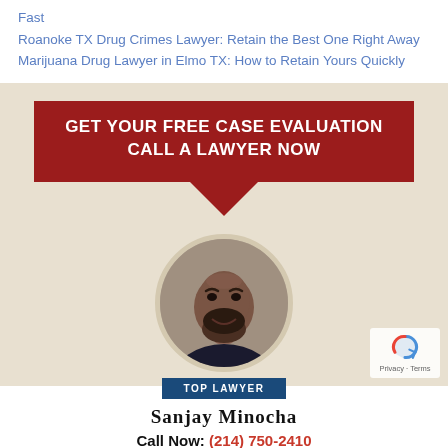Fast
Roanoke TX Drug Crimes Lawyer: Retain the Best One Right Away
Marijuana Drug Lawyer in Elmo TX: How to Retain Yours Quickly
[Figure (infographic): Promotional advertisement for a law firm featuring a red banner reading GET YOUR FREE CASE EVALUATION CALL A LAWYER NOW with a downward arrow pointing to a circular profile photo of Sanjay Minocha labeled TOP LAWYER with contact number (214) 750-2410]
Sanjay Minocha
Call Now: (214) 750-2410